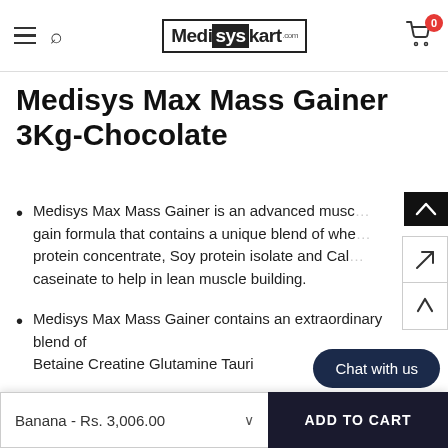MedisysKart.com
Medisys Max Mass Gainer 3Kg-Chocolate
Medisys Max Mass Gainer is an advanced muscle gain formula that contains a unique blend of whey protein concentrate, Soy protein isolate and Calcium caseinate to help in lean muscle building.
Medisys Max Mass Gainer contains an extraordinary blend of Betaine Creatine Glutamine Tauri
Banana - Rs. 3,006.00
ADD TO CART
Chat with us